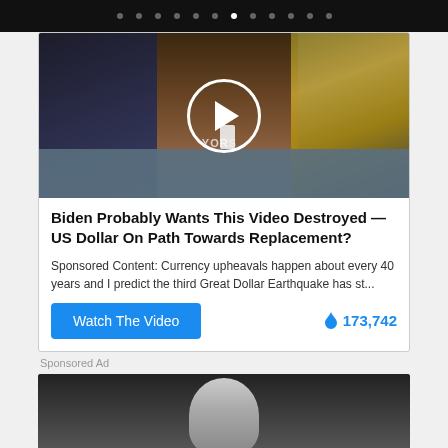[Figure (screenshot): Top navigation bar with dots, one highlighted white indicating active position in a carousel.]
[Figure (screenshot): Video thumbnail showing a news studio scene with a man in a suit, a woman in yellow, and another woman, with a white play button circle overlay. Text 'YOR' visible at bottom.]
Biden Probably Wants This Video Destroyed — US Dollar On Path Towards Replacement?
Sponsored Content: Currency upheavals happen about every 40 years and I predict the third Great Dollar Earthquake has st...
Watch The Video
🔥 173,742
Sponsored Ad
[Figure (screenshot): Bottom portion showing another video thumbnail with a white-haired person visible from the top of the frame.]